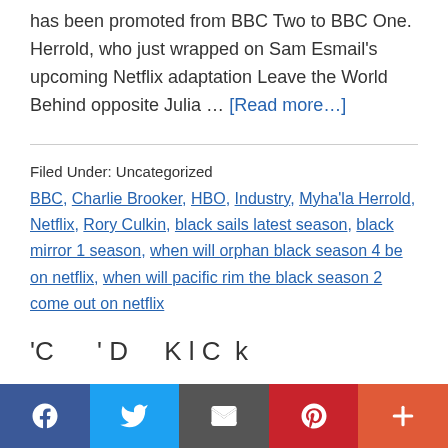has been promoted from BBC Two to BBC One. Herrold, who just wrapped on Sam Esmail's upcoming Netflix adaptation Leave the World Behind opposite Julia … [Read more…]
Filed Under: Uncategorized
BBC, Charlie Brooker, HBO, Industry, Myha'la Herrold, Netflix, Rory Culkin, black sails latest season, black mirror 1 season, when will orphan black season 4 be on netflix, when will pacific rim the black season 2 come out on netflix
'C……' D…… K…l C…k
[Figure (other): Social sharing bar with Facebook, Twitter, Email, Pinterest, and More buttons]